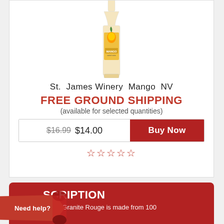[Figure (photo): A bottle of St. James Winery Mango NV wine with a yellow label featuring a mango fruit image]
St. James Winery Mango NV
FREE GROUND SHIPPING
(available for selected quantities)
$16.99 $14.00  Buy Now
★★★★★ (star rating)
DESCRIPTION
…aph Granite Rouge is made from 100
Need help?